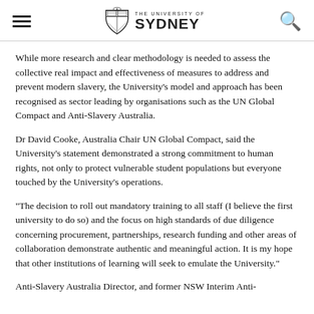THE UNIVERSITY OF SYDNEY
While more research and clear methodology is needed to assess the collective real impact and effectiveness of measures to address and prevent modern slavery, the University's model and approach has been recognised as sector leading by organisations such as the UN Global Compact and Anti-Slavery Australia.
Dr David Cooke, Australia Chair UN Global Compact, said the University's statement demonstrated a strong commitment to human rights, not only to protect vulnerable student populations but everyone touched by the University's operations.
“The decision to roll out mandatory training to all staff (I believe the first university to do so) and the focus on high standards of due diligence concerning procurement, partnerships, research funding and other areas of collaboration demonstrate authentic and meaningful action. It is my hope that other institutions of learning will seek to emulate the University.”
Anti-Slavery Australia Director, and former NSW Interim Anti-